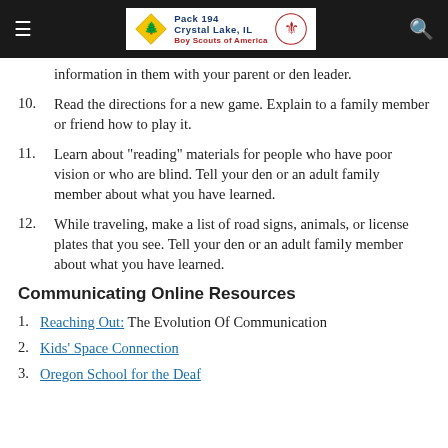Pack 194 Crystal Lake, IL Boy Scouts of America
information in them with your parent or den leader.
10. Read the directions for a new game. Explain to a family member or friend how to play it.
11. Learn about "reading" materials for people who have poor vision or who are blind. Tell your den or an adult family member about what you have learned.
12. While traveling, make a list of road signs, animals, or license plates that you see. Tell your den or an adult family member about what you have learned.
Communicating Online Resources
1. Reaching Out: The Evolution Of Communication
2. Kids' Space Connection
3. Oregon School for the Deaf